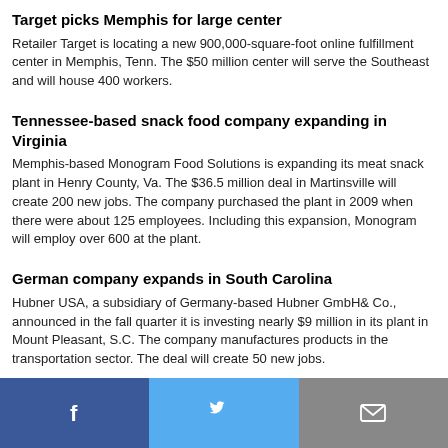Target picks Memphis for large center
Retailer Target is locating a new 900,000-square-foot online fulfillment center in Memphis, Tenn. The $50 million center will serve the Southeast and will house 400 workers.
Tennessee-based snack food company expanding in Virginia
Memphis-based Monogram Food Solutions is expanding its meat snack plant in Henry County, Va. The $36.5 million deal in Martinsville will create 200 new jobs. The company purchased the plant in 2009 when there were about 125 employees. Including this expansion, Monogram will employ over 600 at the plant.
German company expands in South Carolina
Hubner USA, a subsidiary of Germany-based Hubner GmbH& Co., announced in the fall quarter it is investing nearly $9 million in its plant in Mount Pleasant, S.C. The company manufactures products in the transportation sector. The deal will create 50 new jobs.
IT center going up in Northern Kentucky
[Figure (other): Social sharing bar with Facebook, Twitter, and email buttons]